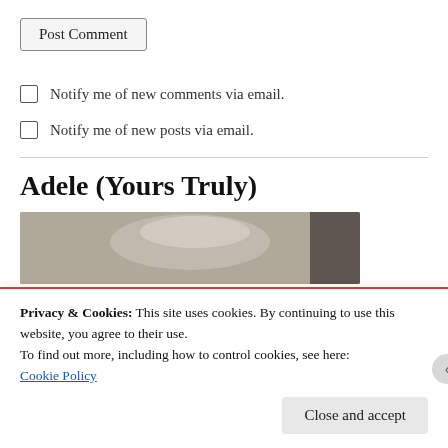Post Comment
Notify me of new comments via email.
Notify me of new posts via email.
Adele (Yours Truly)
[Figure (photo): Partial photo of a person, grayscale, showing top of head with light hair against a muted background.]
Privacy & Cookies: This site uses cookies. By continuing to use this website, you agree to their use.
To find out more, including how to control cookies, see here:
Cookie Policy
Close and accept